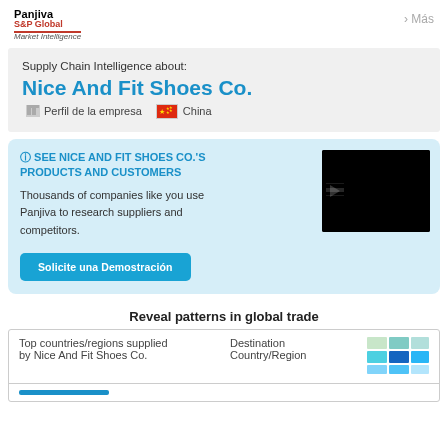Panjiva S&P Global Market Intelligence | Más
Supply Chain Intelligence about: Nice And Fit Shoes Co.
Perfil de la empresa   China
SEE NICE AND FIT SHOES CO.'S PRODUCTS AND CUSTOMERS
Thousands of companies like you use Panjiva to research suppliers and competitors.
Solicite una Demostración
Reveal patterns in global trade
| Top countries/regions supplied by Nice And Fit Shoes Co. | Destination Country/Region |  |
| --- | --- | --- |
|  |  |  |